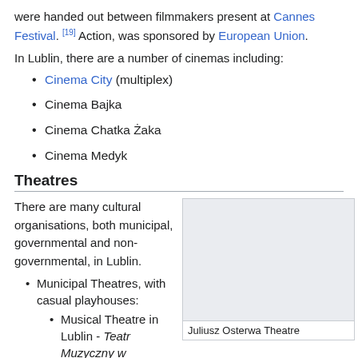were handed out between filmmakers present at Cannes Festival. [19] Action, was sponsored by European Union.
In Lublin, there are a number of cinemas including:
Cinema City (multiplex)
Cinema Bajka
Cinema Chatka Żaka
Cinema Medyk
Theatres
There are many cultural organisations, both municipal, governmental and non-governmental, in Lublin.
Municipal Theatres, with casual playhouses:
Musical Theatre in Lublin - Teatr Muzyczny w
[Figure (photo): Juliusz Osterwa Theatre building (placeholder/blank image box)]
Juliusz Osterwa Theatre